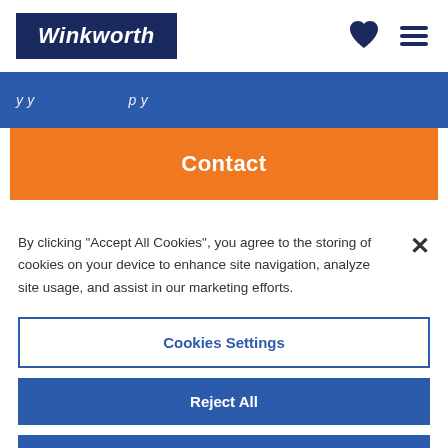Winkworth
[Figure (other): Partially visible blue banner with italic white text (property listing teaser text)]
[Figure (other): Orange Contact button]
By clicking “Accept All Cookies”, you agree to the storing of cookies on your device to enhance site navigation, analyze site usage, and assist in our marketing efforts.
Cookies Settings
Reject All
Accept All Cookies